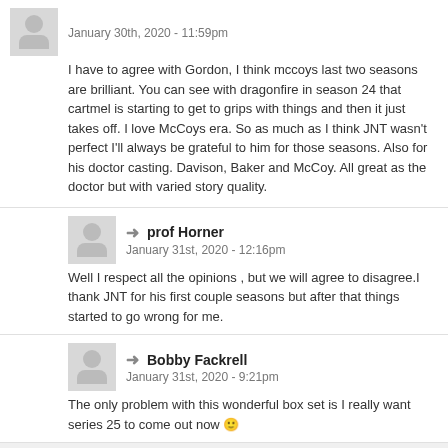January 30th, 2020 - 11:59pm
I have to agree with Gordon, I think mccoys last two seasons are brilliant. You can see with dragonfire in season 24 that cartmel is starting to get to grips with things and then it just takes off. I love McCoys era. So as much as I think JNT wasn't perfect I'll always be grateful to him for those seasons. Also for his doctor casting. Davison, Baker and McCoy. All great as the doctor but with varied story quality.
prof Horner
January 31st, 2020 - 12:16pm
Well I respect all the opinions , but we will agree to disagree.I thank JNT for his first couple seasons but after that things started to go wrong for me.
Bobby Fackrell
January 31st, 2020 - 9:21pm
The only problem with this wonderful box set is I really want series 25 to come out now 🙂
DWS